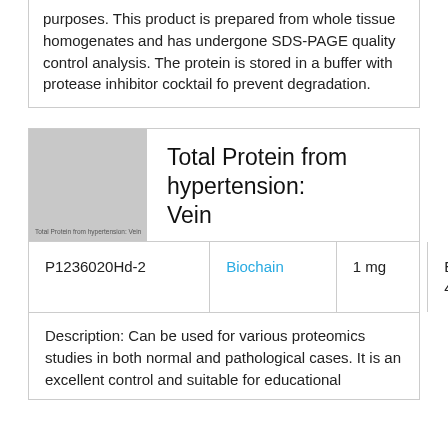purposes. This product is prepared from whole tissue homogenates and has undergone SDS-PAGE quality control analysis. The protein is stored in a buffer with protease inhibitor cocktail fo prevent degradation.
[Figure (photo): Grayscale thumbnail image of Total Protein from hypertension: Vein product with label text overlay.]
Total Protein from hypertension: Vein
|  | Brand | Size | Price |
| --- | --- | --- | --- |
| P1236020Hd-2 | Biochain | 1 mg | EUR 461 |
Description: Can be used for various proteomics studies in both normal and pathological cases. It is an excellent control and suitable for educational